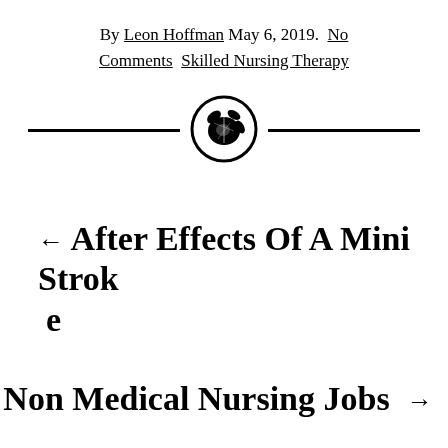By Leon Hoffman May 6, 2019.  No Comments  Skilled Nursing Therapy
[Figure (illustration): Decorative circular logo with floral/leaf motif, flanked by horizontal ruled lines on either side]
← After Effects Of A Mini Stroke
Non Medical Nursing Jobs →